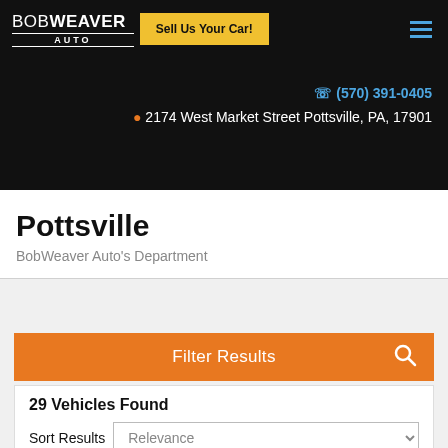BOB WEAVER AUTO — Sell Us Your Car!
(570) 391-0405
2174 West Market Street Pottsville, PA, 17901
Pottsville
BobWeaver Auto's Department
Filter Results
29 Vehicles Found
Sort Results Relevance